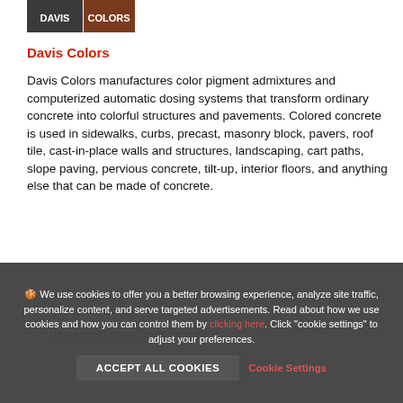[Figure (logo): Davis Colors logo — dark gray and brown rectangular logo with text 'COLORS']
Davis Colors
Davis Colors manufactures color pigment admixtures and computerized automatic dosing systems that transform ordinary concrete into colorful structures and pavements. Colored concrete is used in sidewalks, curbs, precast, masonry block, pavers, roof tile, cast-in-place walls and structures, landscaping, cart paths, slope paving, pervious concrete, tilt-up, interior floors, and anything else that can be made of concrete.
Raven Indus...
Raven Industries...is an innovative
🍪 We use cookies to offer you a better browsing experience, analyze site traffic, personalize content, and serve targeted advertisements. Read about how we use cookies and how you can control them by clicking here. Click "cookie settings" to adjust your preferences.
ACCEPT ALL COOKIES   Cookie Settings